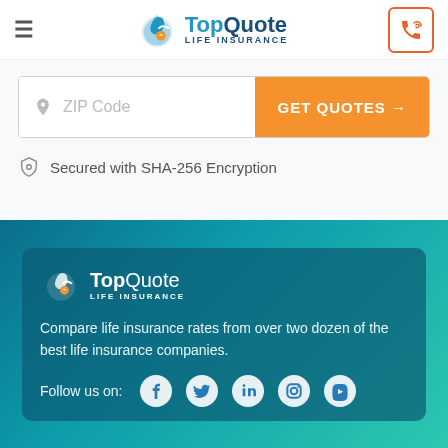[Figure (logo): TopQuote Life Insurance logo in header navigation bar]
[Figure (screenshot): ZIP Code input field with orange GET QUOTES button]
Secured with SHA-256 Encryption
[Figure (logo): TopQuote Life Insurance white logo in footer card]
Compare life insurance rates from over two dozen of the best life insurance companies.
Follow us on: